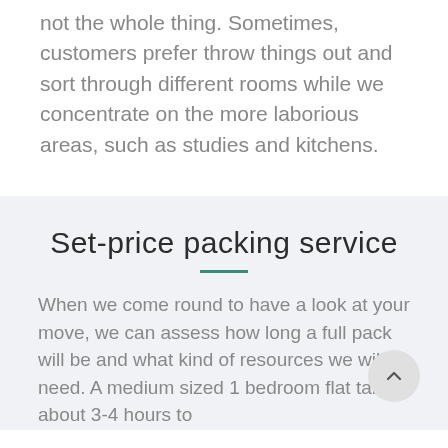not the whole thing. Sometimes, customers prefer throw things out and sort through different rooms while we concentrate on the more laborious areas, such as studies and kitchens.
Set-price packing service
When we come round to have a look at your move, we can assess how long a full pack will be and what kind of resources we will need. A medium sized 1 bedroom flat takes about 3-4 hours to